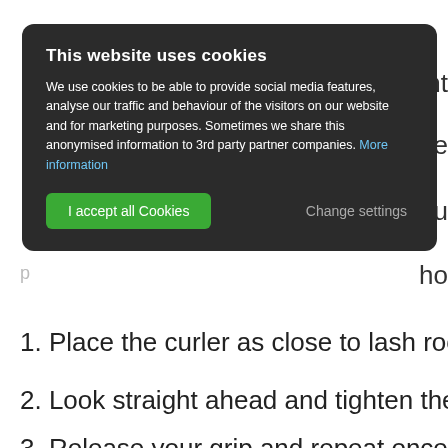[Figure (screenshot): Cookie consent overlay dialog with dark background. Title: 'This website uses cookies'. Body text explains cookie usage for social media, traffic analysis, and marketing, with a 'More information' link. Two buttons: green 'I accept all Cookies' and gray 'Change settings'.]
1. Place the curler as close to lash roots as you can.
2. Look straight ahead and tighten the curler, holding
3. Release your grip and repeat once more.